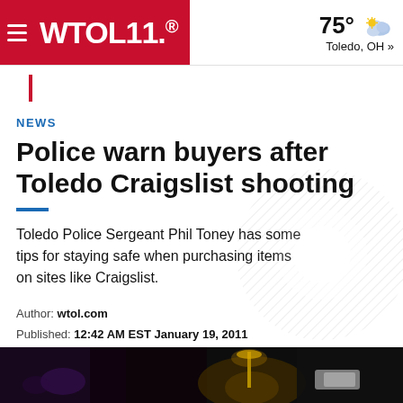WTOL 11. | 75° Toledo, OH »
NEWS
Police warn buyers after Toledo Craigslist shooting
Toledo Police Sergeant Phil Toney has some tips for staying safe when purchasing items on sites like Craigslist.
Author: wtol.com
Published: 12:42 AM EST January 19, 2011
Updated: 7:29 AM EDT June 23, 2018
[Figure (photo): Dark nighttime scene at the bottom of the page, showing a street with lights.]